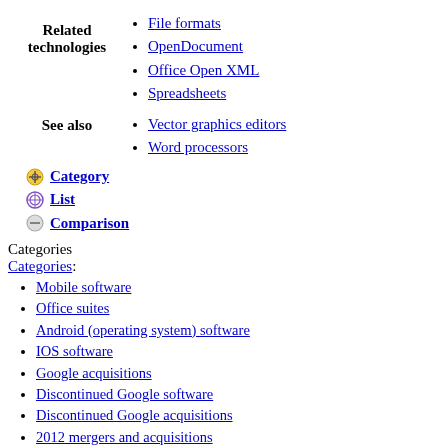Related technologies
File formats
OpenDocument
Office Open XML
Spreadsheets
See also
Vector graphics editors
Word processors
Category
List
Comparison
Categories
Categories:
Mobile software
Office suites
Android (operating system) software
IOS software
Google acquisitions
Discontinued Google software
Discontinued Google acquisitions
2012 mergers and acquisitions